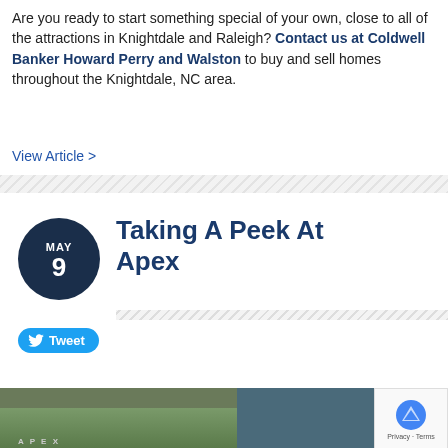Are you ready to start something special of your own, close to all of the attractions in Knightdale and Raleigh? Contact us at Coldwell Banker Howard Perry and Walston to buy and sell homes throughout the Knightdale, NC area.
View Article >
[Figure (other): Diagonal hatching divider bar]
Taking A Peek At Apex
[Figure (other): Dark navy circle with date: MAY 9]
[Figure (other): Diagonal hatching divider bar under article title]
[Figure (other): Twitter Tweet button in blue]
[Figure (photo): Photo strip showing Apex town sign and a storefront with trees in background]
[Figure (other): reCAPTCHA Privacy widget overlay in bottom right corner]